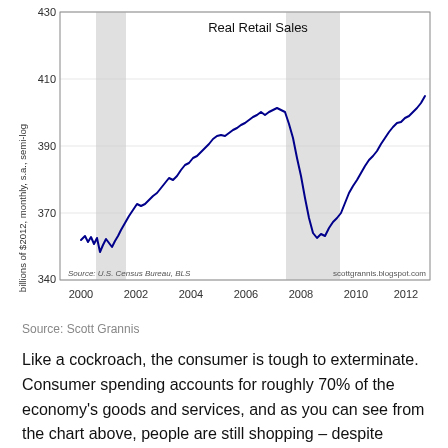[Figure (continuous-plot): Line chart of Real Retail Sales in billions of $2012, monthly, seasonally adjusted, semi-log scale, from 2000 to 2013. Two gray shaded recession bars visible around 2001 and 2008-2009. The line trends upward from ~355 in 2000 to ~415 in 2007, drops sharply to ~340 in 2009, then recovers to ~425 by 2013. Source: U.S. Census Bureau, BLS. scottgrannis.blogspot.com]
Source: Scott Grannis
Like a cockroach, the consumer is tough to exterminate. Consumer spending accounts for roughly 70% of the economy's goods and services, and as you can see from the chart above, people are still shopping – despite domestic and international challenges.